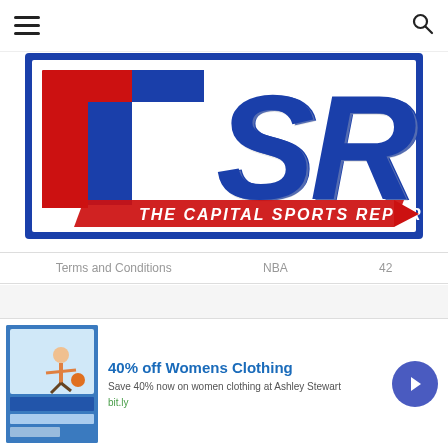≡  [hamburger menu]   [search icon]
[Figure (logo): The Capital Sports Report (TSR) logo — bold blue border rectangle, large stylized T in red/blue/white, S and R letters in dark blue/gray, text 'THE CAPITAL SPORTS REPORT' in red italic below]
Terms and Conditions   NBA   42
Search for
[Figure (infographic): Advertisement banner: '40% off Womens Clothing' in bold blue. Ad image on left shows website screenshot with clothing/figure illustration. Text: 'Save 40% now on women clothing at Ashley Stewart', 'bit.ly'. Blue circular arrow button on right. Close X button top right.]